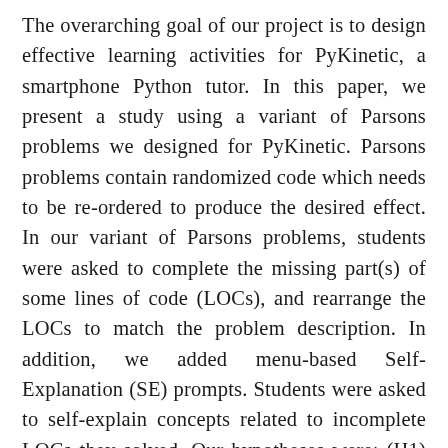The overarching goal of our project is to design effective learning activities for PyKinetic, a smartphone Python tutor. In this paper, we present a study using a variant of Parsons problems we designed for PyKinetic. Parsons problems contain randomized code which needs to be re-ordered to produce the desired effect. In our variant of Parsons problems, students were asked to complete the missing part(s) of some lines of code (LOCs), and rearrange the LOCs to match the problem description. In addition, we added menu-based Self-Explanation (SE) prompts. Students were asked to self-explain concepts related to incomplete LOCs they solved. Our hypotheses were: (H1) PyKinetic would be successful in supporting learning; (H2) menu-based SE prompts would result in further learning benefits; (H3) students with low prior knowledge (LP) would learn more from our Parsons problems in comparison to those with high prior knowledge (HP). We found that the participants for some the statistics and the